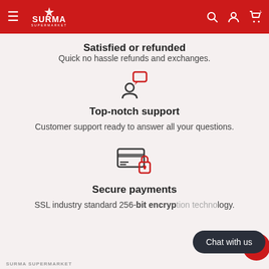SURMA SUPERMARKET
Satisfied or refunded
Quick no hassle refunds and exchanges.
[Figure (illustration): Icon of a person with a speech bubble (customer support icon)]
Top-notch support
Customer support ready to answer all your questions.
[Figure (illustration): Icon of a credit card with a lock (secure payments icon)]
Secure payments
SSL industry standard 256-bit encryption technology.
SURMA SUPERMARKET